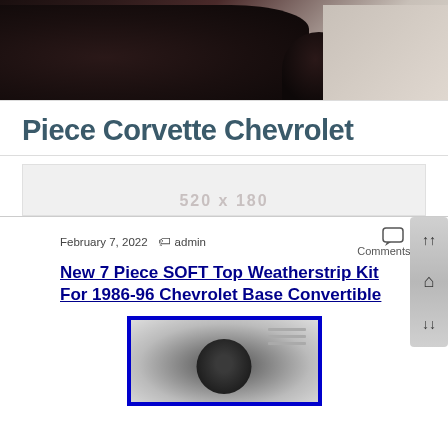[Figure (photo): Header banner image showing dark rocky terrain/cliff against lighter sky background]
Piece Corvette Chevrolet
[Figure (other): Advertisement placeholder box showing dimensions 520 x 180]
February 7, 2022   admin   Comments Off
New 7 Piece SOFT Top Weatherstrip Kit For 1986-96 Chevrolet Base Convertible
[Figure (photo): Product image with blue border showing a person or figure, possibly a document or product photo]